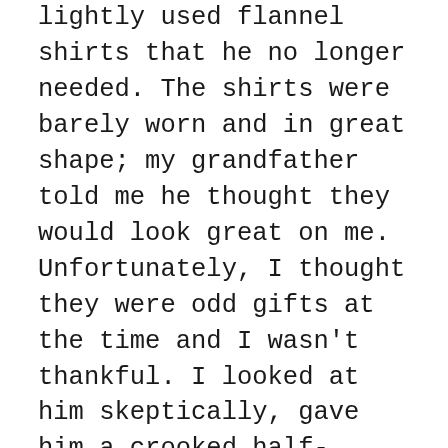lightly used flannel shirts that he no longer needed. The shirts were barely worn and in great shape; my grandfather told me he thought they would look great on me. Unfortunately, I thought they were odd gifts at the time and I wasn't thankful. I looked at him skeptically, gave him a crooked half-smile, and moved on to the other gifts sitting in front of me. My grandfather died two days later from a sudden heart attack. The flannel shirts were the last gifts he ever gave me, and that crooked half-smile was the last time I directly acknowledged him. Today, I still regret the little thing I didn't say when I had the chance: “Thank you Grandpa. I appreciate you.”